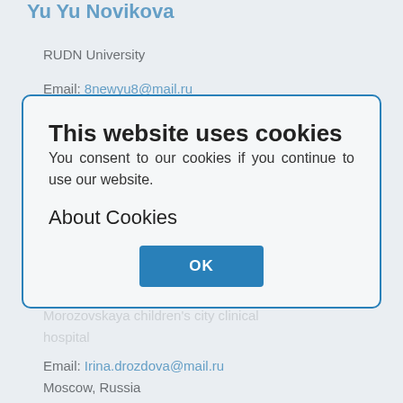Yu Yu Novikova
RUDN University
Email: 8newyu8@mail.ru
Moscow, Russia
O A Korovina
This website uses cookies
You consent to our cookies if you continue to use our website.
About Cookies
OK
I M Drozdova
Morozovskaya children's city clinical hospital
Email: Irina.drozdova@mail.ru
Moscow, Russia
E A Degtyareva